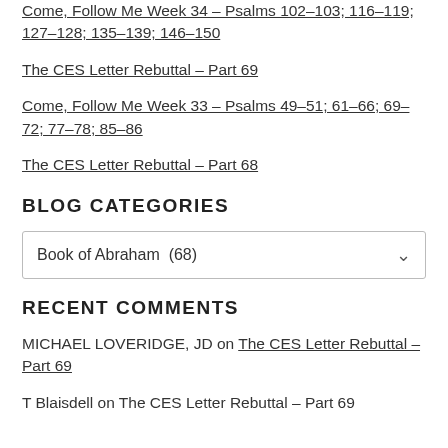Come, Follow Me Week 34 – Psalms 102–103; 116–119; 127–128; 135–139; 146–150
The CES Letter Rebuttal – Part 69
Come, Follow Me Week 33 – Psalms 49–51; 61–66; 69–72; 77–78; 85–86
The CES Letter Rebuttal – Part 68
BLOG CATEGORIES
Book of Abraham  (68)
RECENT COMMENTS
MICHAEL LOVERIDGE, JD on The CES Letter Rebuttal – Part 69
T Blaisdell on The CES Letter Rebuttal – Part 69